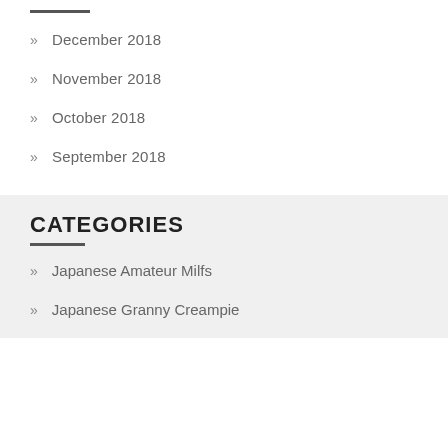December 2018
November 2018
October 2018
September 2018
CATEGORIES
Japanese Amateur Milfs
Japanese Granny Creampie